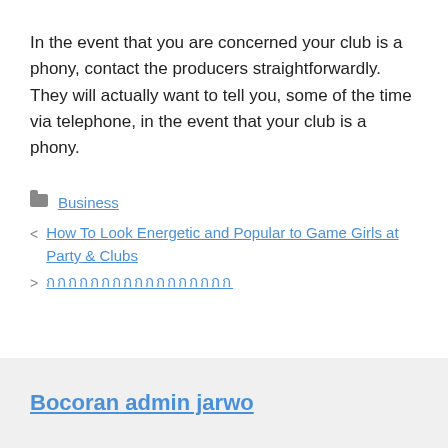In the event that you are concerned your club is a phony, contact the producers straightforwardly. They will actually want to tell you, some of the time via telephone, in the event that your club is a phony.
Business
How To Look Energetic and Popular to Game Girls at Party & Clubs
กกกกกกกกกกกกกกกกก
Bocoran admin jarwo